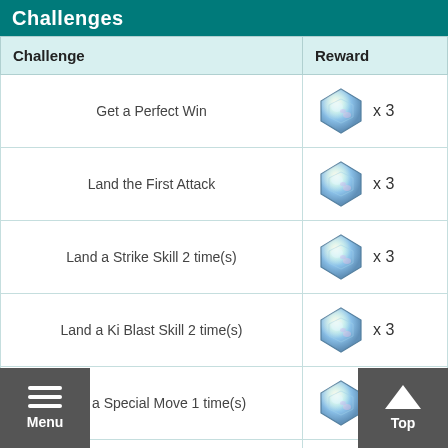Challenges
| Challenge | Reward |
| --- | --- |
| Get a Perfect Win | gem x 3 |
| Land the First Attack | gem x 3 |
| Land a Strike Skill 2 time(s) | gem x 3 |
| Land a Ki Blast Skill 2 time(s) | gem x 3 |
| Land a Special Move 1 time(s) | gem x 3 |
| Use a Special Skill 1 time(s) | gem x 3 |